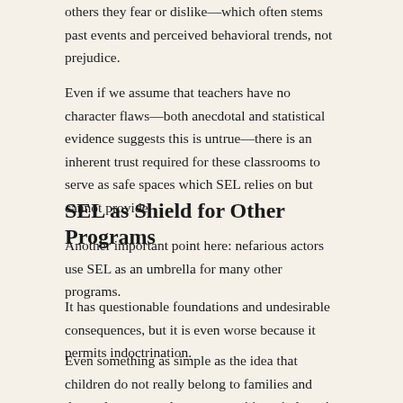others they fear or dislike—which often stems past events and perceived behavioral trends, not prejudice.
Even if we assume that teachers have no character flaws—both anecdotal and statistical evidence suggests this is untrue—there is an inherent trust required for these classrooms to serve as safe spaces which SEL relies on but cannot provide.
SEL as Shield for Other Programs
Another important point here: nefarious actors use SEL as an umbrella for many other programs.
It has questionable foundations and undesirable consequences, but it is even worse because it permits indoctrination.
Even something as simple as the idea that children do not really belong to families and themselves so much as communities winds up in SEL and runs contrary to students' and parents'